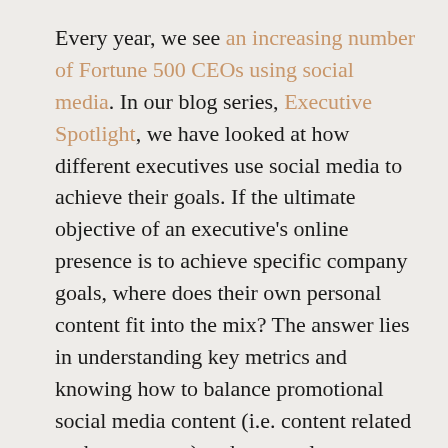Every year, we see an increasing number of Fortune 500 CEOs using social media. In our blog series, Executive Spotlight, we have looked at how different executives use social media to achieve their goals. If the ultimate objective of an executive's online presence is to achieve specific company goals, where does their own personal content fit into the mix? The answer lies in understanding key metrics and knowing how to balance promotional social media content (i.e. content related to the company) and personal content (i.e. content related to or created by the executive).